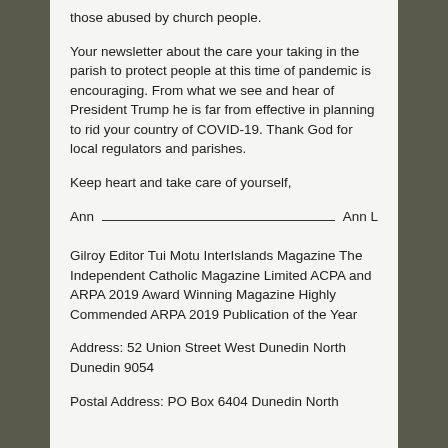those abused by church people.
Your newsletter about the care your taking in the parish to protect people at this time of pandemic is encouraging. From what we see and hear of President Trump he is far from effective in planning to rid your country of COVID-19. Thank God for local regulators and parishes.
Keep heart and take care of yourself,
Ann ___________________________________ Ann L Gilroy Editor Tui Motu InterIslands Magazine The Independent Catholic Magazine Limited ACPA and ARPA 2019 Award Winning Magazine Highly Commended ARPA 2019 Publication of the Year
Address: 52 Union Street West Dunedin North Dunedin 9054
Postal Address: PO Box 6404 Dunedin North